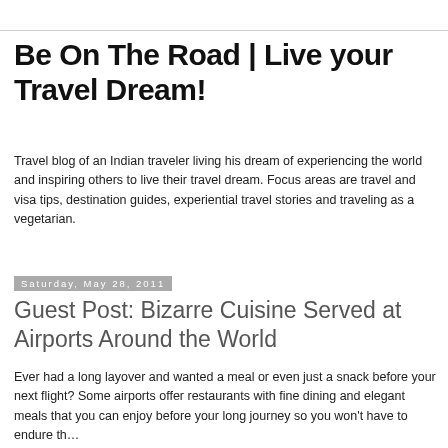Be On The Road | Live your Travel Dream!
Travel blog of an Indian traveler living his dream of experiencing the world and inspiring others to live their travel dream. Focus areas are travel and visa tips, destination guides, experiential travel stories and traveling as a vegetarian.
Saturday, May 28, 2011
Guest Post: Bizarre Cuisine Served at Airports Around the World
Ever had a long layover and wanted a meal or even just a snack before your next flight? Some airports offer restaurants with fine dining and elegant meals that you can enjoy before your long journey so you won't have to endure the uncomfortable, tasteless airline meal during your flight. Th…